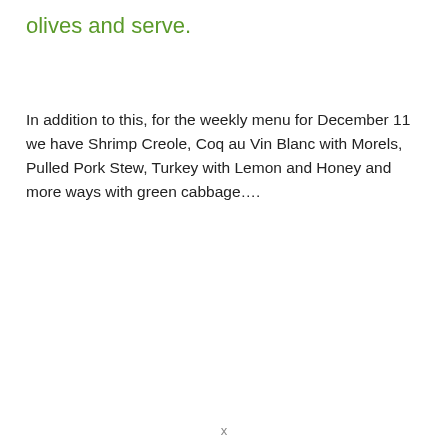olives and serve.
In addition to this, for the weekly menu for December 11 we have Shrimp Creole, Coq au Vin Blanc with Morels, Pulled Pork Stew, Turkey with Lemon and Honey and more ways with green cabbage….
x